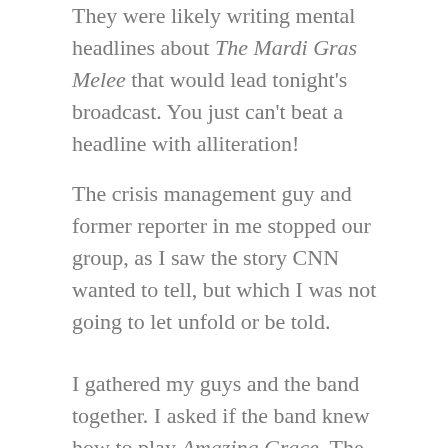They were likely writing mental headlines about The Mardi Gras Melee that would lead tonight's broadcast. You just can't beat a headline with alliteration!
The crisis management guy and former reporter in me stopped our group, as I saw the story CNN wanted to tell, but which I was not going to let unfold or be told.
I gathered my guys and the band together. I asked if the band knew how to play Amazing Grace. The band members huddled and worked out the key. Meanwhile, I instructed the Gentlemen to line up in straight rows across the street. They began the process of assembling neatly.